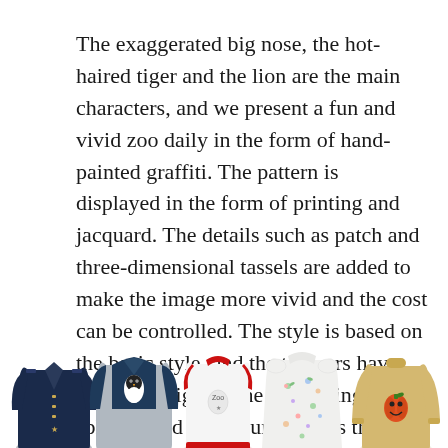The exaggerated big nose, the hot-haired tiger and the lion are the main characters, and we present a fun and vivid zoo daily in the form of hand-painted graffiti. The pattern is displayed in the form of printing and jacquard. The details such as patch and three-dimensional tassels are added to make the image more vivid and the cost can be controlled. The style is based on the basic style, and the trousers have many highlights. The processing of splicing and worn burrs makes the basic single. The product has more highlights.
[Figure (photo): Five children's garments (tops/shirts) displayed in a row at the bottom of the page: a dark navy shirt, a grey and dark sweatshirt with penguin graphic, a sleeveless white top with red trim, a white dress/top with floral print, and a beige/khaki long-sleeve top with graphic.]